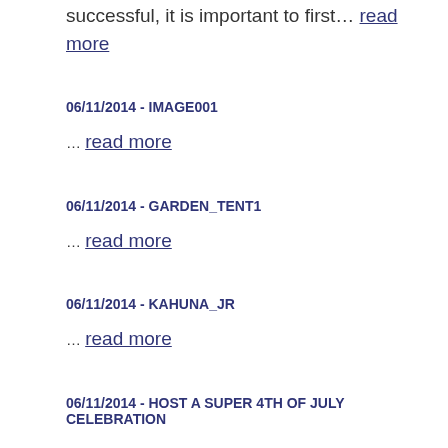successful, it is important to first… read more
06/11/2014 - IMAGE001
… read more
06/11/2014 - GARDEN_TENT1
… read more
06/11/2014 - KAHUNA_JR
… read more
06/11/2014 - HOST A SUPER 4TH OF JULY CELEBRATION